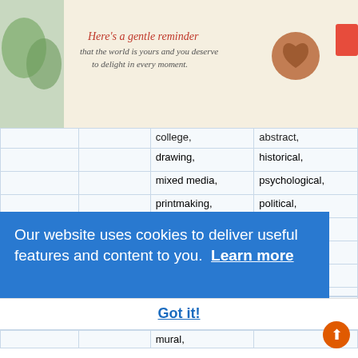[Figure (photo): Advertisement banner with food/lifestyle imagery and text 'Here's a gentle reminder that the world is yours and you deserve to delight in every moment.']
|  |  | college, | abstract, |
| --- | --- | --- | --- |
|  |  | drawing, | historical, |
|  |  | mixed media, | psychological, |
|  |  | printmaking, | political, |
|  |  | sculpture, | fugure, |
|  |  | relief, | mythological, |
|  |  | ceramics | nude, satirical, |
|  |  |  | environmental, |
|  |  |  | race and |
|  |  |  | ethnicity, |
|  |  | mural, |  |
Our website uses cookies to deliver useful features and content to you. Learn more
Got it!